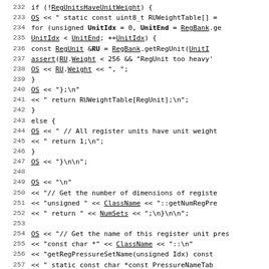Code listing lines 232-261, C++ source code for register unit weight and pressure set name generation.